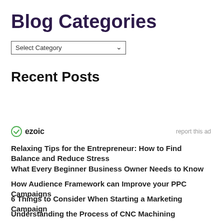Blog Categories
[Figure (other): Dropdown select box labeled 'Select Category' with a chevron indicator]
Recent Posts
[Figure (logo): Ezoic logo with green circle checkmark icon and 'ezoic' text, with 'report this ad' link on the right]
Relaxing Tips for the Entrepreneur: How to Find Balance and Reduce Stress
What Every Beginner Business Owner Needs to Know
How Audience Framework can Improve your PPC Campaigns
6 Things to Consider When Starting a Marketing Campaign
Understanding the Process of CNC Machining